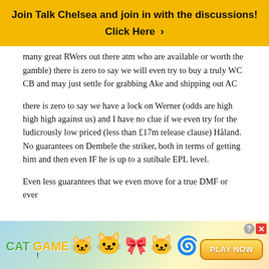[Figure (infographic): Yellow banner with text 'Join Talk Chelsea and join in with the discussions!' and 'Click Here ›' link]
many great RWers out there atm who are available or worth the gamble) there is zero to say we will even try to buy a truly WC CB and may just settle for grabbing Ake and shipping out AC
there is zero to say we have a lock on Werner (odds are high high high against us) and I have no clue if we even try for the ludicrously low priced (less than £17m release clause) Håland. No guarantees on Dembele the striker, both in terms of getting him and then even IF he is up to a sutibale EPL level.
Even less guarantees that we even move for a true DMF or ever...
[Figure (infographic): Cat Game advertisement banner with animated cat characters and a Play Now button]